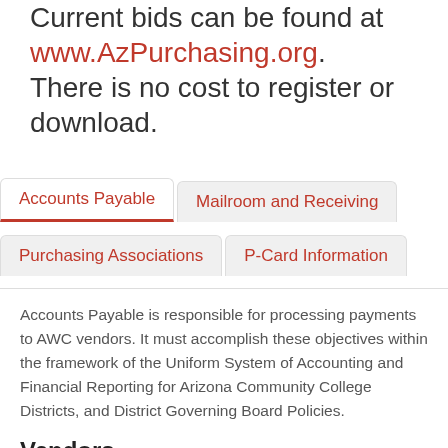Current bids can be found at www.AzPurchasing.org. There is no cost to register or download.
Accounts Payable | Mailroom and Receiving | Purchasing Associations | P-Card Information
Accounts Payable is responsible for processing payments to AWC vendors. It must accomplish these objectives within the framework of the Uniform System of Accounting and Financial Reporting for Arizona Community College Districts, and District Governing Board Policies.
Vendors
In order to process your invoices in a timely manner, we request that you follow the process below: